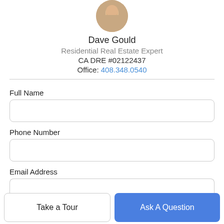[Figure (photo): Circular profile photo of Dave Gould, a real estate agent, cropped at the top]
Dave Gould
Residential Real Estate Expert
CA DRE #02122437
Office: 408.348.0540
Full Name
Phone Number
Email Address
Take a Tour
Ask A Question